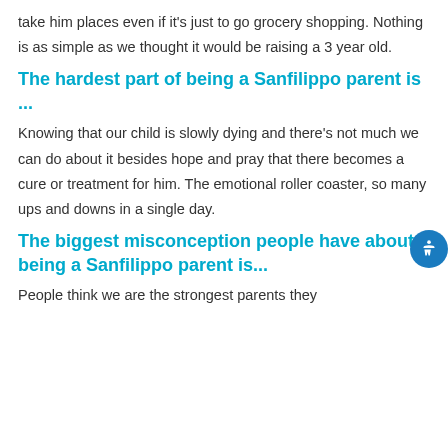take him places even if it's just to go grocery shopping. Nothing is as simple as we thought it would be raising a 3 year old.
The hardest part of being a Sanfilippo parent is ...
Knowing that our child is slowly dying and there's not much we can do about it besides hope and pray that there becomes a cure or treatment for him. The emotional roller coaster, so many ups and downs in a single day.
The biggest misconception people have about being a Sanfilippo parent is...
People think we are the strongest parents they